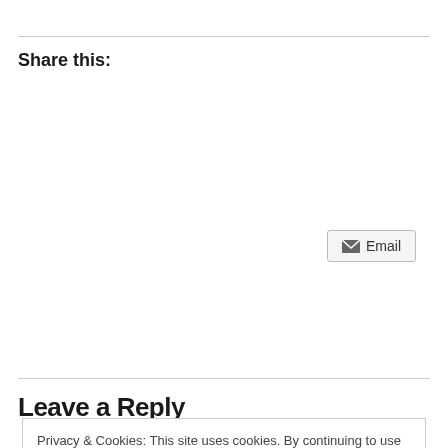Share this:
[Figure (other): Email share button with envelope icon]
Leave a Reply
Privacy & Cookies: This site uses cookies. By continuing to use this website, you agree to their use.
To find out more, including how to control cookies, see here: Cookie Policy
Close and accept